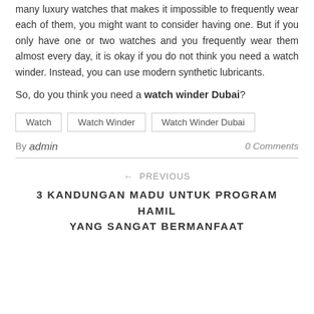many luxury watches that makes it impossible to frequently wear each of them, you might want to consider having one. But if you only have one or two watches and you frequently wear them almost every day, it is okay if you do not think you need a watch winder. Instead, you can use modern synthetic lubricants.
So, do you think you need a watch winder Dubai?
Watch
Watch Winder
Watch Winder Dubai
By admin   0 Comments
← PREVIOUS
3 KANDUNGAN MADU UNTUK PROGRAM HAMIL YANG SANGAT BERMANFAAT